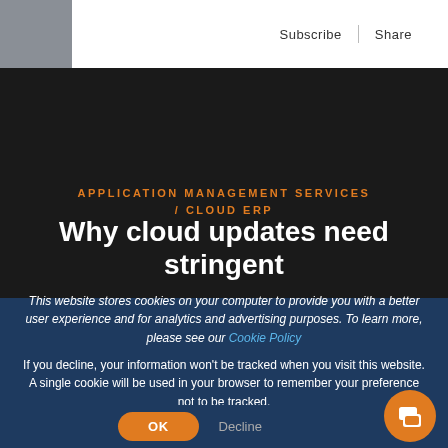Subscribe | Share
APPLICATION MANAGEMENT SERVICES / CLOUD ERP
Why cloud updates need stringent
This website stores cookies on your computer to provide you with a better user experience and for analytics and advertising purposes. To learn more, please see our Cookie Policy
If you decline, your information won't be tracked when you visit this website. A single cookie will be used in your browser to remember your preference not to be tracked.